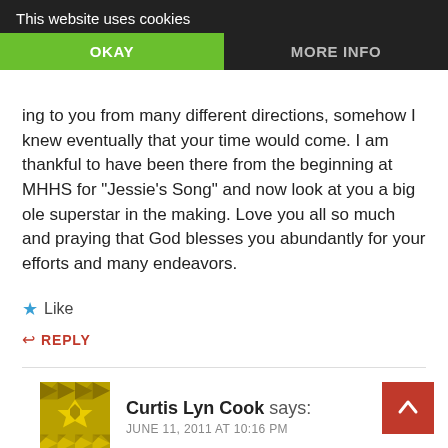This website uses cookies | OKAY | MORE INFO
ing to you from many different directions, somehow I knew eventually that your time would come. I am thankful to have been there from the beginning at MHHS for “Jessie’s Song” and now look at you a big ole superstar in the making. Love you all so much and praying that God blesses you abundantly for your efforts and many endeavors.
★ Like
↩ REPLY
Curtis Lyn Cook says: JUNE 11, 2011 AT 10:16 PM
well Jan, if you were there at MHHS back when I sang Jessie’s Song, then you know that I was an overnight success!!! It